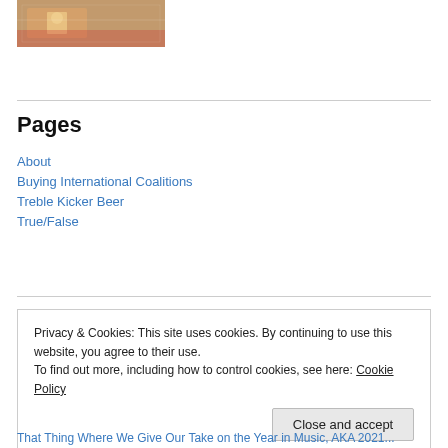[Figure (photo): Vintage beer advertisement image showing a person at a checkered tablecloth with beer glasses]
Pages
About
Buying International Coalitions
Treble Kicker Beer
True/False
Privacy & Cookies: This site uses cookies. By continuing to use this website, you agree to their use.
To find out more, including how to control cookies, see here: Cookie Policy
Close and accept
That Thing Where We Give Our Take on the Year in Music, AKA 2021...